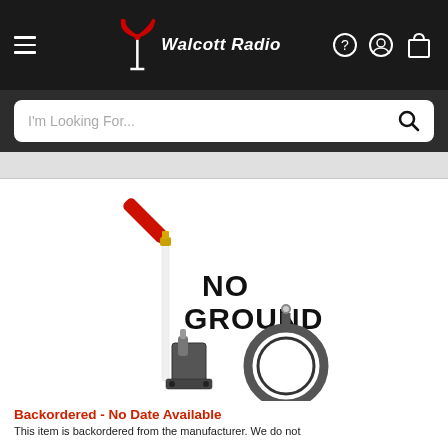Walcott Radio
[Figure (screenshot): Product image showing a CB radio antenna kit with a red antenna tip, white fiberglass antenna, gold connector, toggle switch bracket, and coax cable ring, with text 'NO GROUND' overlaid in bold black letters]
Backordered - No Date Available
This item is backordered from the manufacturer. We do not